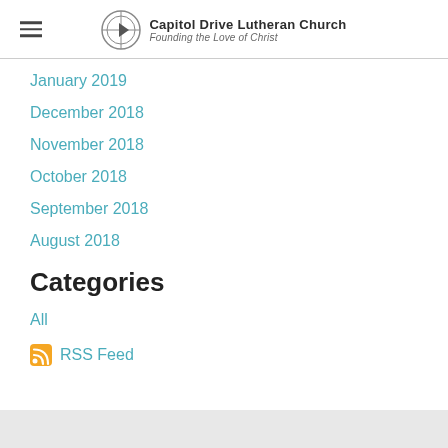Capitol Drive Lutheran Church — Founding the Love of Christ
January 2019
December 2018
November 2018
October 2018
September 2018
August 2018
Categories
All
RSS Feed